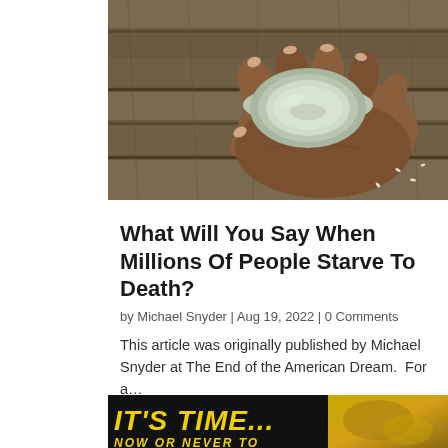[Figure (photo): Close-up photo of a weathered hand holding an empty bowl, resting on a wooden surface, symbolizing hunger and poverty.]
What Will You Say When Millions Of People Starve To Death?
by Michael Snyder | Aug 19, 2022 | 0 Comments
This article was originally published by Michael Snyder at The End of the American Dream.  For a…
[Figure (photo): Advertisement banner with bold yellow italic text reading 'IT'S TIME...' on dark background with gold-colored imagery on the right side.]